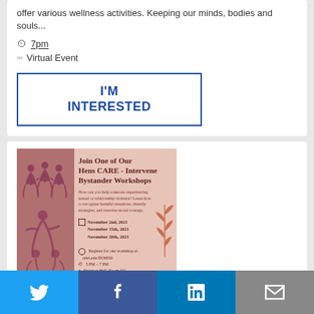offer various wellness activities. Keeping our minds, bodies and souls...
7pm
Virtual Event
I'M INTERESTED
[Figure (infographic): Hens CARE Intervene Bystander Workshops flyer with pink/mauve background, silhouette figures on left, leaf decoration on right, dates November 2nd, 15th, 20th 2021, registration at udel.edu/DO6930, time 5PM-7PM]
Twitter | Facebook | LinkedIn | Email share buttons